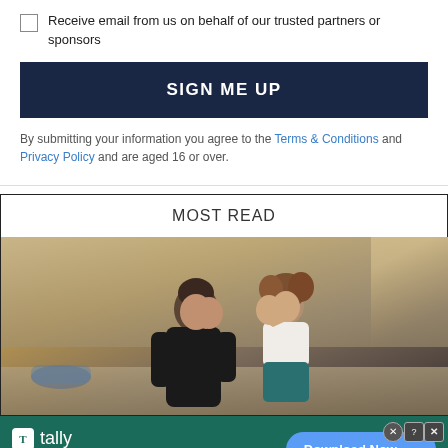Receive email from us on behalf of our trusted partners or sponsors
SIGN ME UP
By submitting your information you agree to the Terms & Conditions and Privacy Policy and are aged 16 or over.
MOST READ
[Figure (photo): Movie still from Dirty Dancing showing a man and woman leaning toward each other about to kiss in a dance studio setting.]
[Figure (infographic): Advertisement banner for Tally app with text 'Fast credit card payoff' and a Download Now button on a dark green background.]